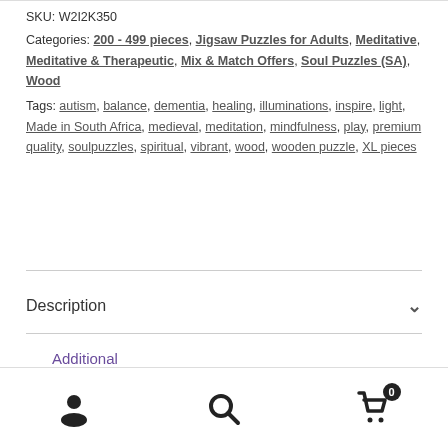SKU: W2I2K350
Categories: 200 - 499 pieces, Jigsaw Puzzles for Adults, Meditative, Meditative & Therapeutic, Mix & Match Offers, Soul Puzzles (SA), Wood
Tags: autism, balance, dementia, healing, illuminations, inspire, light, Made in South Africa, medieval, meditation, mindfulness, play, premium quality, soulpuzzles, spiritual, vibrant, wood, wooden puzzle, XL pieces
Description
Additional information